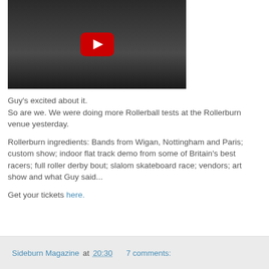[Figure (screenshot): YouTube video thumbnail showing a person in dark clothing against a wall, with a YouTube play button overlay in red]
Guy's excited about it.
So are we. We were doing more Rollerball tests at the Rollerburn venue yesterday.

Rollerburn ingredients: Bands from Wigan, Nottingham and Paris; custom show; indoor flat track demo from some of Britain's best racers; full roller derby bout; slalom skateboard race; vendors; art show and what Guy said...

Get your tickets here.
Sideburn Magazine at 20:30   7 comments: